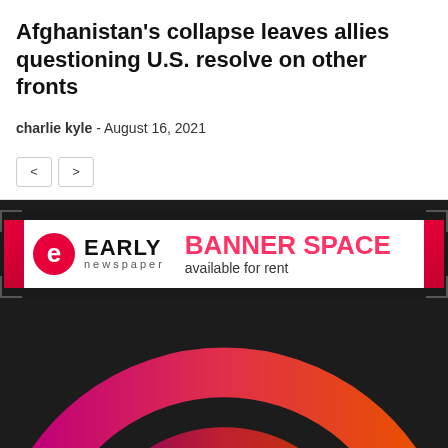Afghanistan's collapse leaves allies questioning U.S. resolve on other fronts
charlie kyle  -  August 16, 2021
[Figure (screenshot): Navigation previous/next arrow buttons]
[Figure (logo): Early Newspaper banner ad with logo on white background and text BANNER SPACE available for rent on dark background]
[Figure (photo): Dark background with a large gradient arc/ring shape going from magenta/purple on the left to orange/red on the right, resembling a stylized circular logo on a black fabric background]